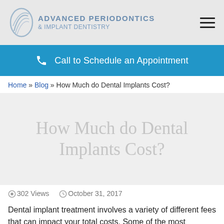[Figure (logo): Advanced Periodontics & Implant Dentistry logo with swirl graphic and hamburger menu icon]
Call to Schedule an Appointment
Home » Blog » How Much do Dental Implants Cost?
How Much do Dental Implants Cost?
302 Views   October 31, 2017
Dental implant treatment involves a variety of different fees that can impact your total costs. Some of the most